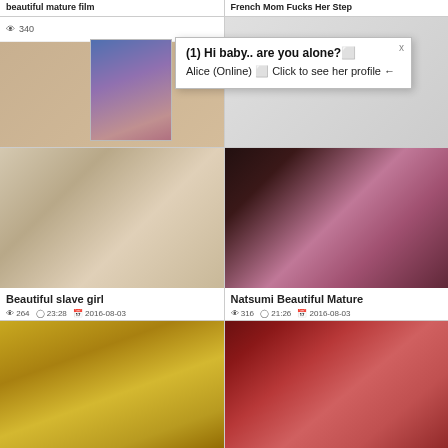beautiful mature film
French Mom Fucks Her Step
[Figure (screenshot): Popup ad overlay: (1) Hi baby.. are you alone? Alice (Online) Click to see her profile]
[Figure (screenshot): Video thumbnail - Beautiful slave girl, close-up scene with object]
Beautiful slave girl
264 views, 23:28, 2016-08-03
[Figure (screenshot): Video thumbnail - Natsumi Beautiful Mature, group scene]
Natsumi Beautiful Mature
316 views, 21:26, 2016-08-03
[Figure (screenshot): Video thumbnail - close-up golden scene]
[Figure (screenshot): Video thumbnail - woman on red background]